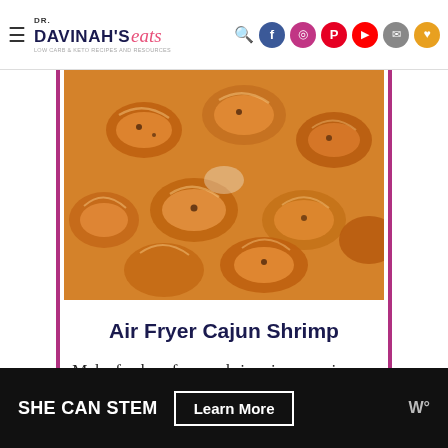DR. DAVINAH'S eats
[Figure (photo): Overhead close-up photo of Cajun seasoned shrimp cooked in an air fryer, showing multiple curled shrimp with orange-brown seasoning]
Air Fryer Cajun Shrimp
Make fresh or frozen shrimp in your air fryer with this easy Air Fryer Cajun Shrimp recipe. It uses just three ingredients, including DIY cajun seasoning & garlic butter.
SHE CAN STEM Learn More